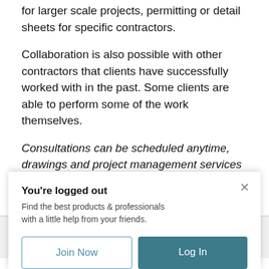for larger scale projects, permitting or detail sheets for specific contractors.
Collaboration is also possible with other contractors that clients have successfully worked with in the past. Some clients are able to perform some of the work themselves.
Consultations can be scheduled anytime, drawings and project management services may be booked out for a season during busy times.
Map
You're logged out
Find the best products & professionals with a little help from your friends.
Join Now
Log In